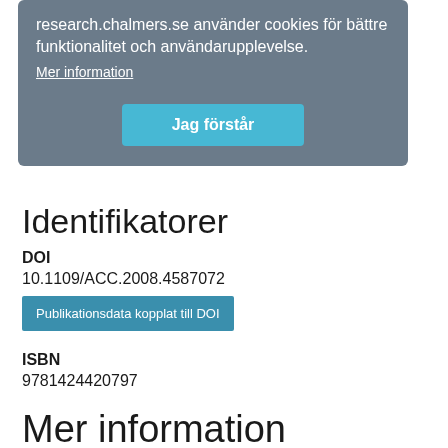Kategorisering
research.chalmers.se använder cookies för bättre funktionalitet och användarupplevelse.
Mer information
Jag förstår
Identifikatorer
DOI
10.1109/ACC.2008.4587072
Publikationsdata kopplat till DOI
ISBN
9781424420797
Mer information
Senast uppdaterat